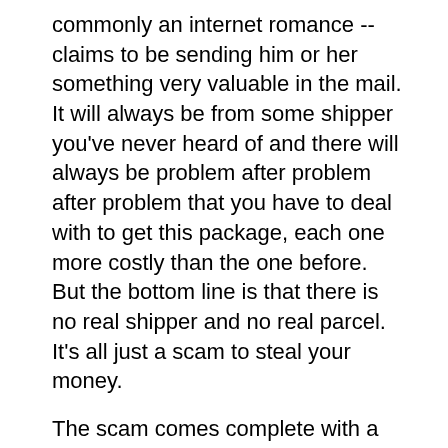commonly an internet romance -- claims to be sending him or her something very valuable in the mail. It will always be from some shipper you've never heard of and there will always be problem after problem after problem that you have to deal with to get this package, each one more costly than the one before. But the bottom line is that there is no real shipper and no real parcel. It's all just a scam to steal your money.
The scam comes complete with a phony website with phony tracking, fake customs agents and shippers and more.
But as you can see here, there's no such company there:
The Dubai government's business register has no such company named Altius Cargo doing business in that country.
https://u.ae/en/information-and-...